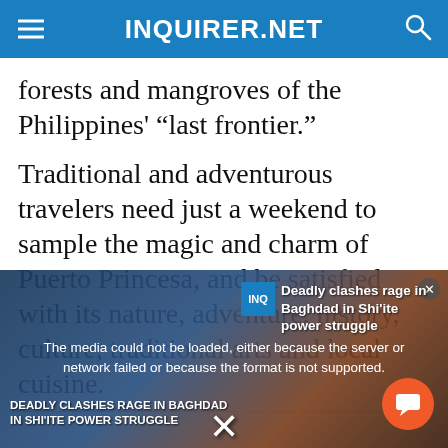INQUIRER.NET
forests and mangroves of the Philippines' “last frontier.”
Traditional and adventurous travelers need just a weekend to sample the magic and charm of Puerto Princesa, and be satisfied with its nature, adventure, history, culture, traditional arts and local cuisine.
[Figure (screenshot): Video player overlay showing a news story about deadly clashes in Baghdad in Shi'ite power struggle. A media error message reads: 'The media could not be loaded, either because the server or network failed or because the format is not supported.' An orange chat button and a close X button are visible.]